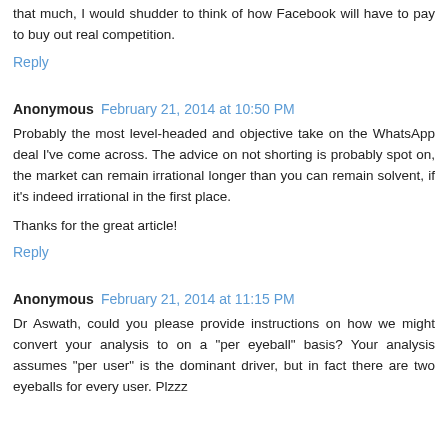that much, I would shudder to think of how Facebook will have to pay to buy out real competition.
Reply
Anonymous February 21, 2014 at 10:50 PM
Probably the most level-headed and objective take on the WhatsApp deal I've come across. The advice on not shorting is probably spot on, the market can remain irrational longer than you can remain solvent, if it's indeed irrational in the first place.
Thanks for the great article!
Reply
Anonymous February 21, 2014 at 11:15 PM
Dr Aswath, could you please provide instructions on how we might convert your analysis to on a "per eyeball" basis? Your analysis assumes "per user" is the dominant driver, but in fact there are two eyeballs for every user. Plzzz